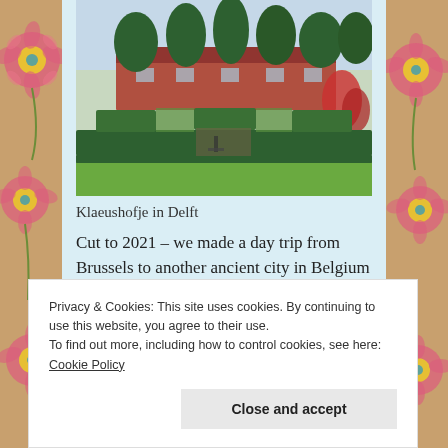[Figure (photo): Garden photo of Klaeushofje in Delft showing formal hedged garden beds with trees and a brick building in background]
Klaeushofje in Delft
Cut to 2021 – we made a day trip from Brussels to another ancient city in Belgium – Leuven, just 26 kms away. As I always research a bit before a
Privacy & Cookies: This site uses cookies. By continuing to use this website, you agree to their use.
To find out more, including how to control cookies, see here: Cookie Policy
Close and accept